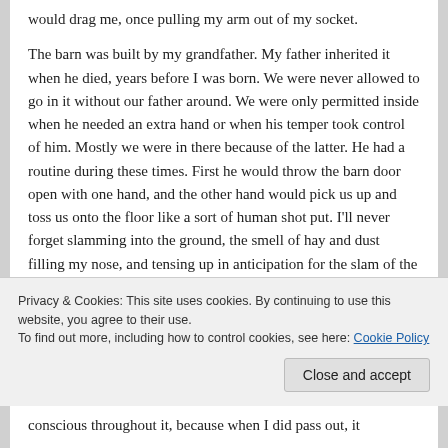would drag me, once pulling my arm out of my socket.

The barn was built by my grandfather. My father inherited it when he died, years before I was born. We were never allowed to go in it without our father around. We were only permitted inside when he needed an extra hand or when his temper took control of him. Mostly we were in there because of the latter. He had a routine during these times. First he would throw the barn door open with one hand, and the other hand would pick us up and toss us onto the floor like a sort of human shot put. I'll never forget slamming into the ground, the smell of hay and dust filling my nose, and tensing up in anticipation for the slam of the door going shut and his hands on my throat. He was strong and the anger made him stronger. I could feel the ridges of his calloused hands as he
Privacy & Cookies: This site uses cookies. By continuing to use this website, you agree to their use.
To find out more, including how to control cookies, see here: Cookie Policy
Close and accept
conscious throughout it, because when I did pass out, it